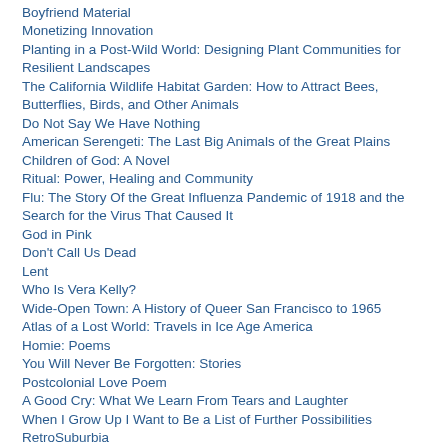Boyfriend Material
Monetizing Innovation
Planting in a Post-Wild World: Designing Plant Communities for Resilient Landscapes
The California Wildlife Habitat Garden: How to Attract Bees, Butterflies, Birds, and Other Animals
Do Not Say We Have Nothing
American Serengeti: The Last Big Animals of the Great Plains
Children of God: A Novel
Ritual: Power, Healing and Community
Flu: The Story Of the Great Influenza Pandemic of 1918 and the Search for the Virus That Caused It
God in Pink
Don't Call Us Dead
Lent
Who Is Vera Kelly?
Wide-Open Town: A History of Queer San Francisco to 1965
Atlas of a Lost World: Travels in Ice Age America
Homie: Poems
You Will Never Be Forgotten: Stories
Postcolonial Love Poem
A Good Cry: What We Learn From Tears and Laughter
When I Grow Up I Want to Be a List of Further Possibilities
RetroSuburbia
The End of Policing
How to Be an Antiracist
Network Effect
The Odd Woman and the City
When We Were Magic
Finna